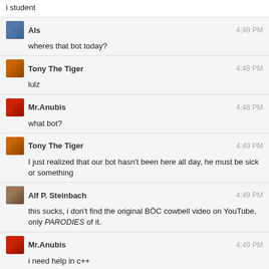i student
Als  4:48 PM
wheres that bot today?
Tony The Tiger  4:48 PM
lulz
Mr.Anubis  4:48 PM
what bot?
Tony The Tiger  4:49 PM
I just realized that our bot hasn't been here all day, he must be sick or something
Alf P. Steinbach  4:49 PM
this sucks, i don't find the original BÖC cowbell video on YouTube, only PARODIES of it.
Mr.Anubis  4:49 PM
i need help in c++
Cat Plus Plus  4:49 PM
He's fighting crime in Detroit.
StackedCrooked  4:50 PM
i need help in housekeeping
Alf P. Steinbach  4:50 PM